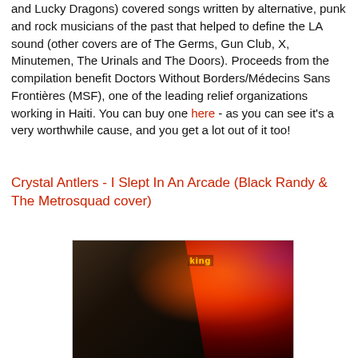and Lucky Dragons) covered songs written by alternative, punk and rock musicians of the past that helped to define the LA sound (other covers are of The Germs, Gun Club, X, Minutemen, The Urinals and The Doors). Proceeds from the compilation benefit Doctors Without Borders/Médecins Sans Frontières (MSF), one of the leading relief organizations working in Haiti. You can buy one here - as you can see it's a very worthwhile cause, and you get a lot out of it too!
Crystal Antlers - I Slept In An Arcade (Black Randy & The Metrosquad cover)
[Figure (photo): Concert photo of a male musician with dark hair playing an electric guitar and singing into a microphone, wearing a black sleeveless shirt with a graphic print. The background shows bright red and orange stage lighting with blurred light effects and what appears to be a venue sign.]